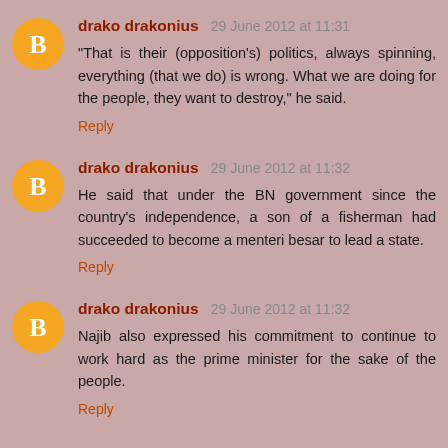drako drakonius 29 June 2012 at 11:31
"That is their (opposition's) politics, always spinning, everything (that we do) is wrong. What we are doing for the people, they want to destroy," he said.
Reply
drako drakonius 29 June 2012 at 11:32
He said that under the BN government since the country's independence, a son of a fisherman had succeeded to become a menteri besar to lead a state.
Reply
drako drakonius 29 June 2012 at 11:32
Najib also expressed his commitment to continue to work hard as the prime minister for the sake of the people.
Reply